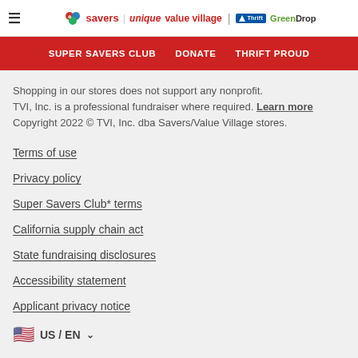≡  savers | unique value village | Thrift GreenDrop
SUPER SAVERS CLUB   DONATE   THRIFT PROUD
Shopping in our stores does not support any nonprofit. TVI, Inc. is a professional fundraiser where required. Learn more Copyright 2022 © TVI, Inc. dba Savers/Value Village stores.
Terms of use
Privacy policy
Super Savers Club* terms
California supply chain act
State fundraising disclosures
Accessibility statement
Applicant privacy notice
🇺🇸 US / EN ∨